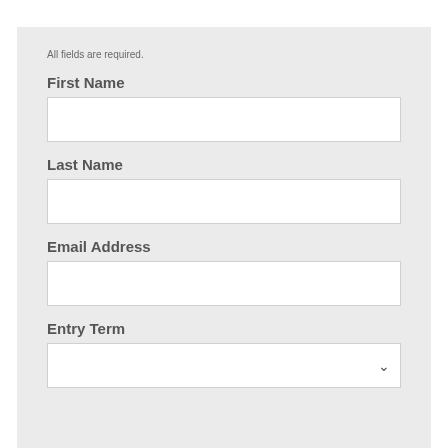All fields are required.
First Name
[Figure (other): Text input field for First Name]
Last Name
[Figure (other): Text input field for Last Name]
Email Address
[Figure (other): Text input field for Email Address]
Entry Term
[Figure (other): Dropdown select field for Entry Term]